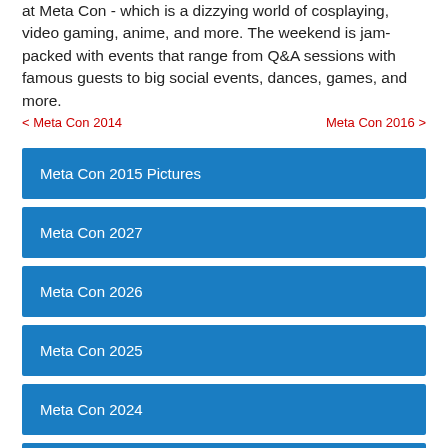at Meta Con - which is a dizzying world of cosplaying, video gaming, anime, and more. The weekend is jam-packed with events that range from Q&A sessions with famous guests to big social events, dances, games, and more.
< Meta Con 2014    Meta Con 2016 >
Meta Con 2015 Pictures
Meta Con 2027
Meta Con 2026
Meta Con 2025
Meta Con 2024
Meta Con 2023